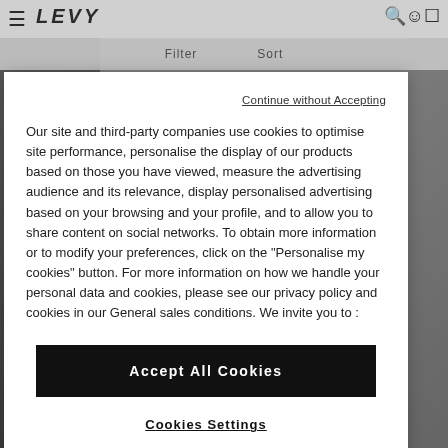LEVY — Filter | Sort
Continue without Accepting
Our site and third-party companies use cookies to optimise site performance, personalise the display of our products based on those you have viewed, measure the advertising audience and its relevance, display personalised advertising based on your browsing and your profile, and to allow you to share content on social networks. To obtain more information or to modify your preferences, click on the "Personalise my cookies" button. For more information on how we handle your personal data and cookies, please see our privacy policy and cookies in our General sales conditions. We invite you to :
Accept All Cookies
Cookies Settings